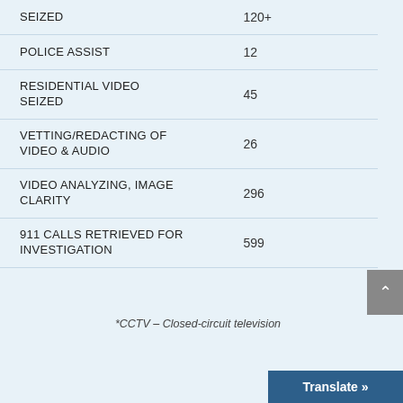| Category | Count |
| --- | --- |
| SEIZED | 120+ |
| POLICE ASSIST | 12 |
| RESIDENTIAL VIDEO SEIZED | 45 |
| VETTING/REDACTING OF VIDEO & AUDIO | 26 |
| VIDEO ANALYZING, IMAGE CLARITY | 296 |
| 911 CALLS RETRIEVED FOR INVESTIGATION | 599 |
*CCTV – Closed-circuit television